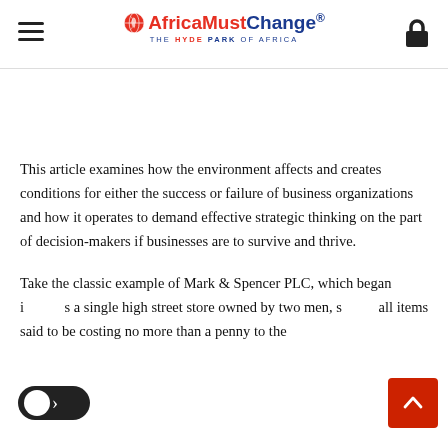AfricaMustChange® — THE HYDE PARK OF AFRICA
This article examines how the environment affects and creates conditions for either the success or failure of business organizations and how it operates to demand effective strategic thinking on the part of decision-makers if businesses are to survive and thrive.
Take the classic example of Mark & Spencer PLC, which began i[n] a single high street store owned by two men, s[elling] all items said to be costing no more than a penny to the